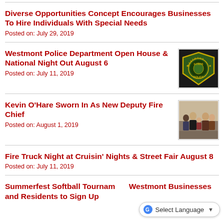Diverse Opportunities Concept Encourages Businesses To Hire Individuals With Special Needs
Posted on: July 29, 2019
Westmont Police Department Open House & National Night Out August 6
Posted on: July 11, 2019
[Figure (photo): Westmont Illinois Police badge/patch logo on black background]
Kevin O'Hare Sworn In As New Deputy Fire Chief
Posted on: August 1, 2019
[Figure (photo): Group photo of people at swearing-in ceremony]
Fire Truck Night at Cruisin' Nights & Street Fair August 8
Posted on: July 11, 2019
Summerfest Softball Tournament Westmont Businesses and Residents to Sign Up